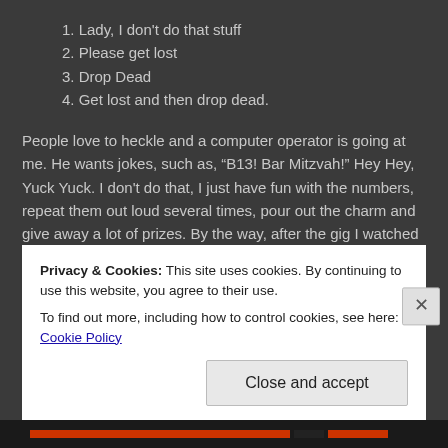1. Lady, I don't do that stuff
2. Please get lost
3. Drop Dead
4. Get lost and then drop dead.
People love to heckle and a computer operator is going at me. He wants jokes, such as, “B13!  Bar Mitzvah!”   Hey Hey, Yuck Yuck.  I don't do that, I just have fun with the numbers, repeat them out loud several times, pour out the charm and give away a lot of prizes.  By the way, after the gig I watched computer boy push the up button to leave.  We were on the 4th floor.  It is the down button.  “You push buttons for a living and the stork that delivered you was arrested for smuggling dope!”  Dope
Privacy & Cookies: This site uses cookies. By continuing to use this website, you agree to their use.
To find out more, including how to control cookies, see here: Cookie Policy